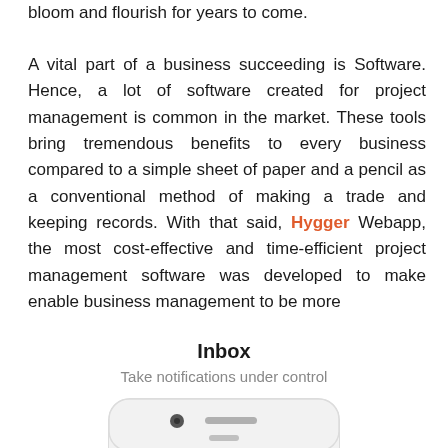bloom and flourish for years to come.
A vital part of a business succeeding is Software. Hence, a lot of software created for project management is common in the market. These tools bring tremendous benefits to every business compared to a simple sheet of paper and a pencil as a conventional method of making a trade and keeping records. With that said, Hygger Webapp, the most cost-effective and time-efficient project management software was developed to make enable business management to be more
Inbox
Take notifications under control
[Figure (photo): Top portion of a smartphone device showing camera, speaker, and home button area]